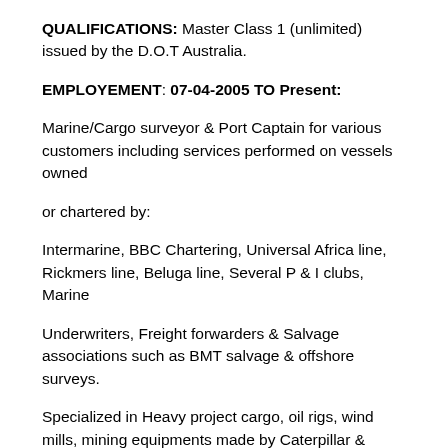QUALIFICATIONS: Master Class 1 (unlimited) issued by the D.O.T Australia.
EMPLOYEMENT: 07-04-2005 TO Present:
Marine/Cargo surveyor & Port Captain for various customers including services performed on vessels owned
or chartered by:
Intermarine, BBC Chartering, Universal Africa line, Rickmers line, Beluga line, Several P & I clubs, Marine
Underwriters, Freight forwarders & Salvage associations such as BMT salvage & offshore surveys.
Specialized in Heavy project cargo, oil rigs, wind mills, mining equipments made by Caterpillar & Bucyrus.
1995 through 2005:
General Manager: Hibah Inc. Cypress Texas, U.S.A.